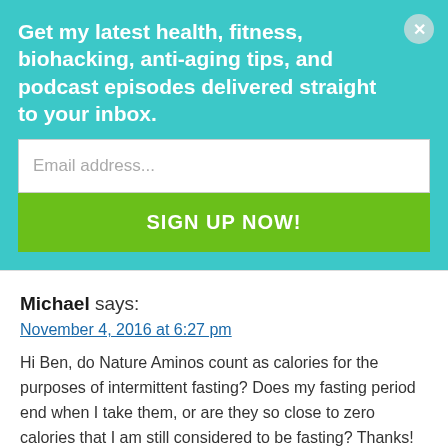Get my latest health, fitness, biohacking, anti-aging tips, and podcast episodes delivered straight to your inbox.
Email address...
SIGN UP NOW!
Michael says:
November 4, 2016 at 6:27 pm
Hi Ben, do Nature Aminos count as calories for the purposes of intermittent fasting? Does my fasting period end when I take them, or are they so close to zero calories that I am still considered to be fasting? Thanks!
Reply